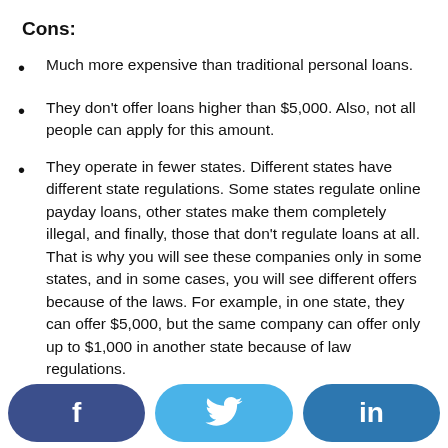Cons:
Much more expensive than traditional personal loans.
They don't offer loans higher than $5,000. Also, not all people can apply for this amount.
They operate in fewer states. Different states have different state regulations. Some states regulate online payday loans, other states make them completely illegal, and finally, those that don't regulate loans at all. That is why you will see these companies only in some states, and in some cases, you will see different offers because of the laws. For example, in one state, they can offer $5,000, but the same company can offer only up to $1,000 in another state because of law regulations.
[Figure (other): Social sharing buttons: Facebook (f), Twitter (bird icon), LinkedIn (in)]